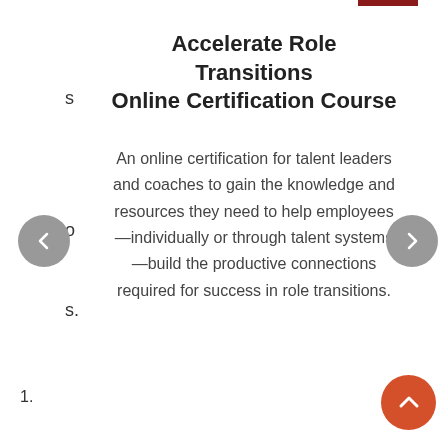Accelerate Role Transitions Online Certification Course
An online certification for talent leaders and coaches to gain the knowledge and resources they need to help employees—individually or through talent systems—build the productive connections required for success in role transitions.